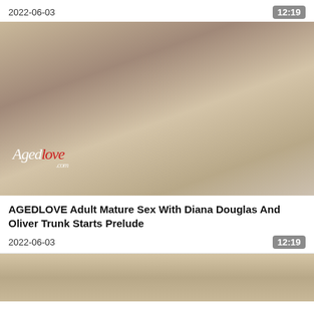2022-06-03
12:19
[Figure (photo): Thumbnail image for adult video with AgedLove watermark]
AGEDLOVE Adult Mature Sex With Diana Douglas And Oliver Trunk Starts Prelude
2022-06-03
12:19
[Figure (photo): Partial thumbnail of second video showing people]